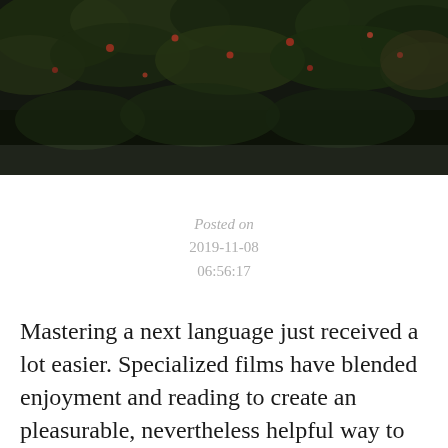[Figure (photo): Dark moody nature photo showing dense foliage, leaves, and small red berries or flowers against a dark background.]
Posted on
2019-11-08
06:56:17
Mastering a next language just received a lot easier. Specialized films have blended enjoyment and reading to create an pleasurable, nevertheless helpful way to discover.